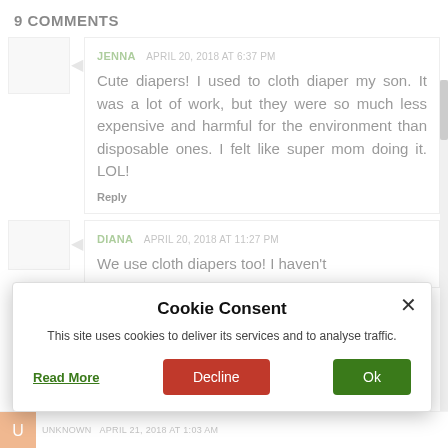9 COMMENTS
JENNA  APRIL 20, 2018 AT 6:37 PM
Cute diapers! I used to cloth diaper my son. It was a lot of work, but they were so much less expensive and harmful for the environment than disposable ones. I felt like super mom doing it. LOL!
Reply
DIANA  APRIL 20, 2018 AT 11:27 PM
We use cloth diapers too! I haven't
Cookie Consent
This site uses cookies to deliver its services and to analyse traffic.
Read More  Decline  Ok
UNKNOWN  APRIL 21, 2018 AT 1:03 AM